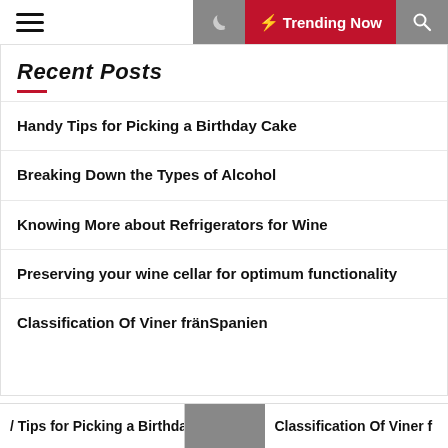Trending Now
Recent Posts
Handy Tips for Picking a Birthday Cake
Breaking Down the Types of Alcohol
Knowing More about Refrigerators for Wine
Preserving your wine cellar for optimum functionality
Classification Of Viner fränSpanien
Archives
/ Tips for Picking a Birthday | Classification Of Viner f